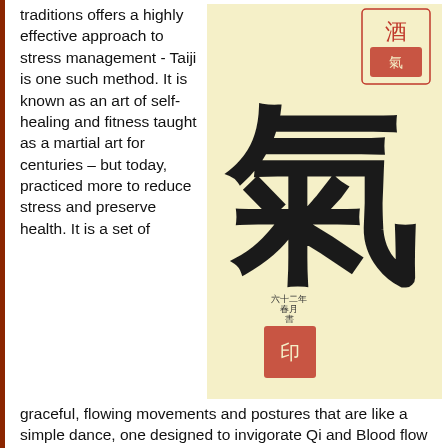Chinese medicine traditions offers a highly effective approach to stress management - Taiji is one such method. It is known as an art of self-healing and fitness taught as a martial art for centuries – but today, practiced more to reduce stress and preserve health. It is a set of graceful, flowing movements and postures that are like a simple dance, one designed to invigorate Qi and Blood flow throughout the body.
[Figure (illustration): Chinese calligraphy character for Qi (氣) in black ink on yellow/cream background, with red seal stamps at top right and bottom center]
Taiji is derived from two Chinese characters. The first, tai means grand or ultimate and the qi (chi) refers to our vital